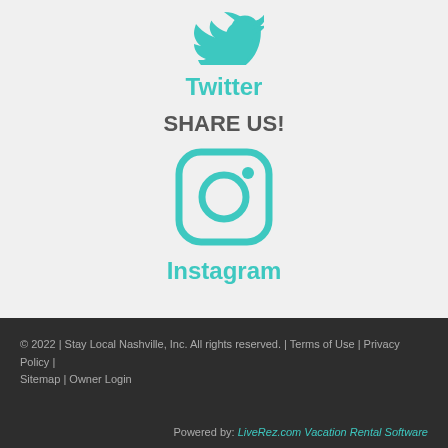[Figure (logo): Twitter bird icon in teal color, partially cropped at top]
Twitter
SHARE US!
[Figure (logo): Instagram icon in teal color — rounded square with circle and dot]
Instagram
© 2022 | Stay Local Nashville, Inc. All rights reserved. | Terms of Use | Privacy Policy | Sitemap | Owner Login
Powered by: LiveRez.com Vacation Rental Software